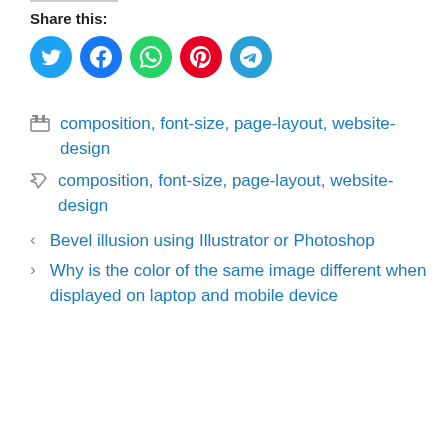Share this:
[Figure (infographic): Five social media share buttons: Twitter (cyan), Facebook (blue), WhatsApp (green), Pinterest (red), Telegram (blue)]
composition, font-size, page-layout, website-design
composition, font-size, page-layout, website-design
‹  Bevel illusion using Illustrator or Photoshop
›  Why is the color of the same image different when displayed on laptop and mobile device